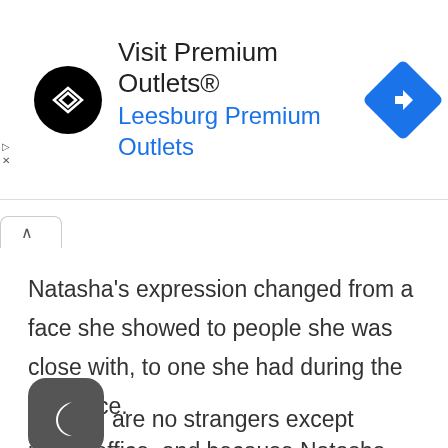[Figure (screenshot): Advertisement banner for Visit Premium Outlets® - Leesburg Premium Outlets with logo and navigation icon]
[Figure (screenshot): Browser tab bar with upward caret icon tab]
Natasha's expression changed from a face she showed to people she was close with, to one she had during the audience.
[Figure (logo): Dark grey rounded square app icon with crescent moon symbol]
There are no strangers except Natasha in this office, and because Natasha ha...